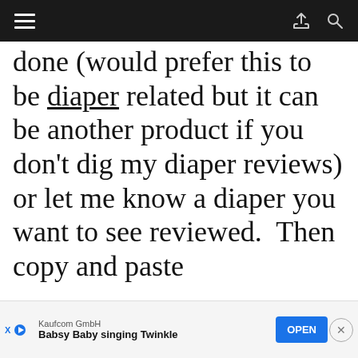Navigation bar with hamburger menu, share, and search icons
done (would prefer this to be diaper related but it can be another product if you don't dig my diaper reviews) or let me know a diaper you want to see reviewed. Then copy and paste
[Figure (screenshot): Ad banner: Kaufcom GmbH - Babsy Baby singing Twinkle - OPEN button]